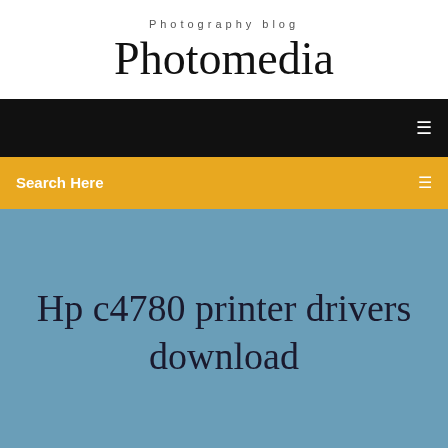Photography blog
Photomedia
[Figure (screenshot): Black navigation bar with white menu icon on the right]
Search Here
Hp c4780 printer drivers download